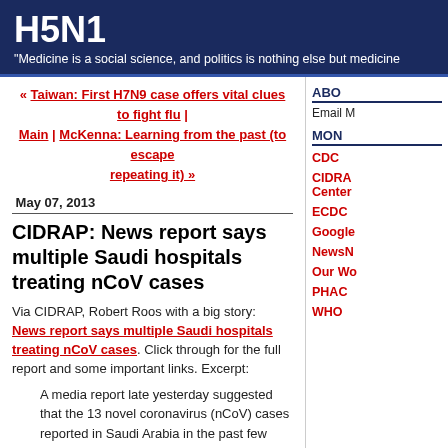H5N1
"Medicine is a social science, and politics is nothing else but medicine
« Taiwan: First H7N9 case offers vital clues to fight flu | Main | McKenna: Learning from the past (to escape repeating it) »
ABO
Email M
MON
May 07, 2013
CIDRAP: News report says multiple Saudi hospitals treating nCoV cases
Via CIDRAP, Robert Roos with a big story: News report says multiple Saudi hospitals treating nCoV cases. Click through for the full report and some important links. Excerpt:
A media report late yesterday suggested that the 13 novel coronavirus (nCoV) cases reported in Saudi Arabia in the past few days are not confined to just one hospital, contrary to a May 5 statement from the Saudi health ministry.
Malek al Moosa, executive director of a small
CDC
CIDRA Center
ECDC
Google
NewsN
Our Wo
PHAC
WHO